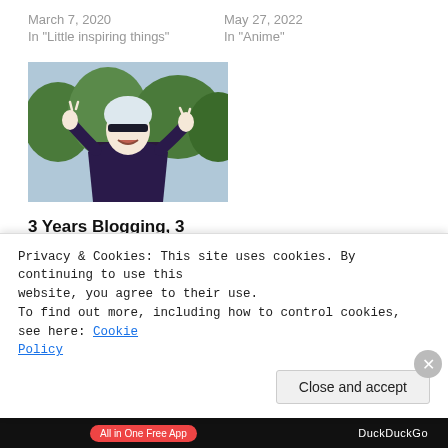March 7, 2020
In "Little inspiring things"
May 27, 2022
In "Anime"
[Figure (photo): Anime character with white hair wearing dark clothing, making gestures with hands raised, trees in background]
3 Years Blogging, 3 Years into Anime
August 22, 2021
In "Anime"
Privacy & Cookies: This site uses cookies. By continuing to use this website, you agree to their use.
To find out more, including how to control cookies, see here: Cookie Policy
Close and accept
All in One Free App
DuckDuckGo